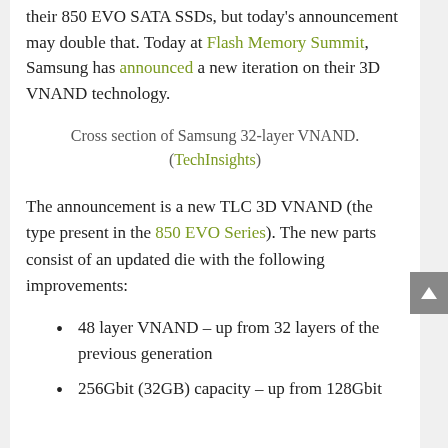their 850 EVO SATA SSDs, but today's announcement may double that. Today at Flash Memory Summit, Samsung has announced a new iteration on their 3D VNAND technology.
Cross section of Samsung 32-layer VNAND. (TechInsights)
The announcement is a new TLC 3D VNAND (the type present in the 850 EVO Series). The new parts consist of an updated die with the following improvements:
48 layer VNAND – up from 32 layers of the previous generation
256Gbit (32GB) capacity – up from 128Gbit